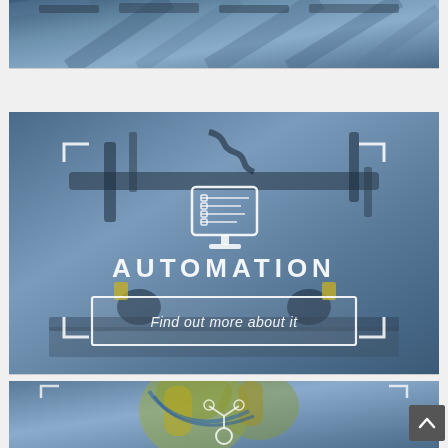[Figure (photo): Partial industrial machinery photo, cropped at top — dark metal components with blue overlay tint]
[Figure (infographic): Industrial automation card with blue-tinted photo background of robotic manufacturing equipment. White corner bracket decorations, white monitor/HMI icon, large white text 'AUTOMATION', and a white-bordered button 'Find out more about it']
AUTOMATION
Find out more about it
[Figure (photo): Partial industrial robot arm photo at bottom of page, yellow robotic arm with blue overlay tint, partially visible with robot arm icon overlay]